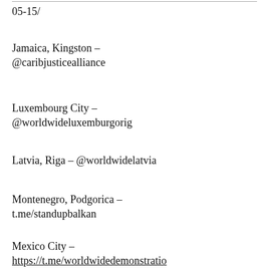05-15/
Jamaica, Kingston – @caribjusticealliance
Luxembourg City – @worldwideluxemburgorig
Latvia, Riga – @worldwidelatvia
Montenegro, Podgorica – t.me/standupbalkan
Mexico City – https://t.me/worldwidedemonstratio ncdmx